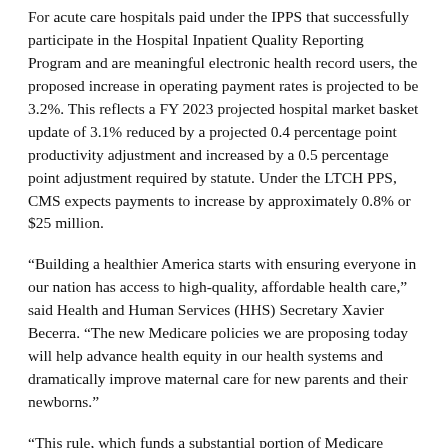For acute care hospitals paid under the IPPS that successfully participate in the Hospital Inpatient Quality Reporting Program and are meaningful electronic health record users, the proposed increase in operating payment rates is projected to be 3.2%. This reflects a FY 2023 projected hospital market basket update of 3.1% reduced by a projected 0.4 percentage point productivity adjustment and increased by a 0.5 percentage point adjustment required by statute. Under the LTCH PPS, CMS expects payments to increase by approximately 0.8% or $25 million.
“Building a healthier America starts with ensuring everyone in our nation has access to high-quality, affordable health care,” said Health and Human Services (HHS) Secretary Xavier Becerra. “The new Medicare policies we are proposing today will help advance health equity in our health systems and dramatically improve maternal care for new parents and their newborns.”
“This rule, which funds a substantial portion of Medicare programs, is crucial to the foundation of CMS’ vision [external link], ensuring access for all people with Medicare and maintaining